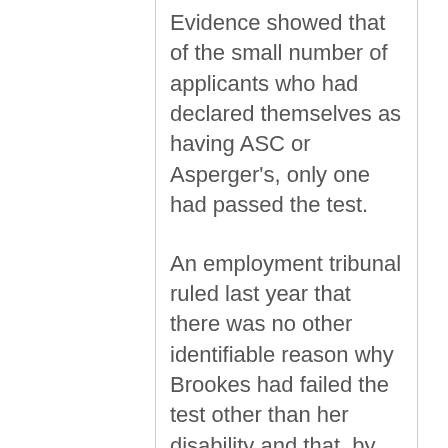Evidence showed that of the small number of applicants who had declared themselves as having ASC or Asperger's, only one had passed the test.
An employment tribunal ruled last year that there was no other identifiable reason why Brookes had failed the test other than her disability and that, by asking her to take the test as it stood, the GLS had indirectly discriminated against her, treated her unfairly and failed to make reasonable adjustments to take her disability into account. The GLS appealed but